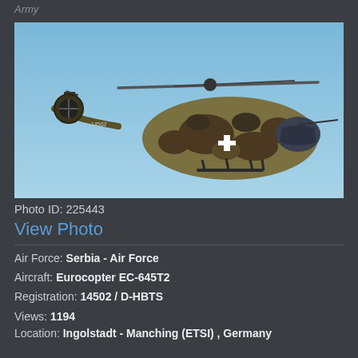Army
[Figure (photo): Military helicopter Eurocopter EC-645T2 in camouflage paint scheme (green/brown) with Swiss cross marking, German flag on tail, flying against a blue sky. Registration markings visible on tail boom.]
Photo ID: 225443
View Photo
Air Force: Serbia - Air Force
Aircraft: Eurocopter EC-645T2
Registration: 14502 / D-HBTS
Views: 1194
Location: Ingolstadt - Manching (ETSI) , Germany